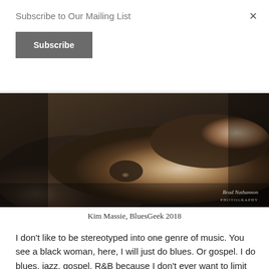Subscribe to Our Mailing List
Subscribe
[Figure (photo): Close-up photograph of a person's arm and hands, dark background, with watermark text 'Brad Nathanson Photography']
Kim Massie, BluesGeek 2018
I don't like to be stereotyped into one genre of music. You see a black woman, here, I will just do blues. Or gospel. I do blues, jazz, gospel, R&B because I don't ever want to limit myself, and once I limit myself, it doesn't make me happy, and I want to be able to be free and able to express myself whatever way that evening dictates. So I